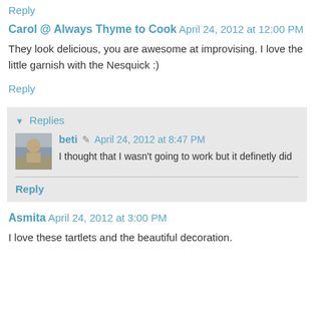Reply
Carol @ Always Thyme to Cook  April 24, 2012 at 12:00 PM
They look delicious, you are awesome at improvising. I love the little garnish with the Nesquick :)
Reply
▼ Replies
beti  April 24, 2012 at 8:47 PM
I thought that I wasn't going to work but it definetly did
Reply
Asmita  April 24, 2012 at 3:00 PM
I love these tartlets and the beautiful decoration.